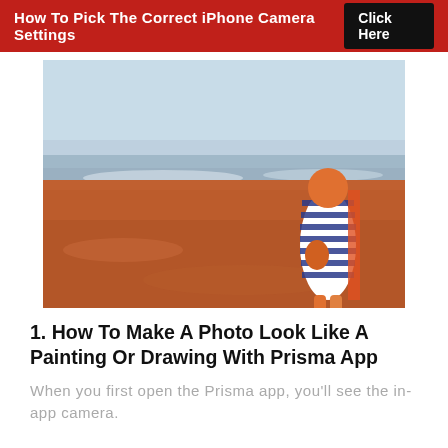How To Pick The Correct iPhone Camera Settings   Click Here
[Figure (photo): A small child or figure wearing a striped blue and white dress/wrap with an orange head, standing on a red sand beach facing the ocean, viewed from behind.]
1. How To Make A Photo Look Like A Painting Or Drawing With Prisma App
When you first open the Prisma app, you'll see the in-app camera.